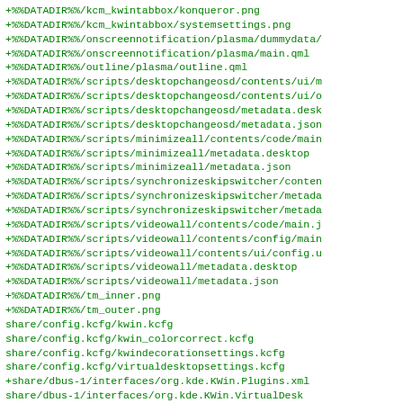+%%DATADIR%%/kcm_kwintabbox/konqueror.png
+%%DATADIR%%/kcm_kwintabbox/systemsettings.png
+%%DATADIR%%/onscreennotification/plasma/dummydata/
+%%DATADIR%%/onscreennotification/plasma/main.qml
+%%DATADIR%%/outline/plasma/outline.qml
+%%DATADIR%%/scripts/desktopchangeosd/contents/ui/m
+%%DATADIR%%/scripts/desktopchangeosd/contents/ui/o
+%%DATADIR%%/scripts/desktopchangeosd/metadata.desk
+%%DATADIR%%/scripts/desktopchangeosd/metadata.json
+%%DATADIR%%/scripts/minimizeall/contents/code/main
+%%DATADIR%%/scripts/minimizeall/metadata.desktop
+%%DATADIR%%/scripts/minimizeall/metadata.json
+%%DATADIR%%/scripts/synchronizeskipswitcher/conten
+%%DATADIR%%/scripts/synchronizeskipswitcher/metada
+%%DATADIR%%/scripts/synchronizeskipswitcher/metada
+%%DATADIR%%/scripts/videowall/contents/code/main.j
+%%DATADIR%%/scripts/videowall/contents/config/main
+%%DATADIR%%/scripts/videowall/contents/ui/config.u
+%%DATADIR%%/scripts/videowall/metadata.desktop
+%%DATADIR%%/scripts/videowall/metadata.json
+%%DATADIR%%/tm_inner.png
+%%DATADIR%%/tm_outer.png
  share/config.kcfg/kwin.kcfg
  share/config.kcfg/kwin_colorcorrect.kcfg
  share/config.kcfg/kwindecorationsettings.kcfg
  share/config.kcfg/virtualdesktopsettings.kcfg
+share/dbus-1/interfaces/org.kde.KWin.Plugins.xml
  share/dbus-1/interfaces/org.kde.KWin.VirtualDesk
  share/dbus-1/interfaces/org.kde.KWin.xml
  share/dbus-1/interfaces/org.kde.KWin.ColorCorrect.